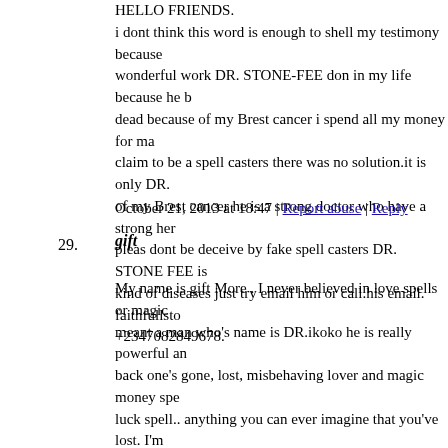HELLO FRIENDS. i dont think this word is enough to shell my testimony because wonderful work DR. STONE-FEE don in my life because he b dead because of my Brest cancer i spend all my money for ma claim to be a spell casters there was no solution.it is only DR. of my Brest cancer he is a strong doctor who have a strong her pleas dont be deceive by fake spell casters DR. STONE FEE i kind of diseases just try email him or call.his email. faithfullst +2347082849678.
October 21, 2013 at 18:47 | Report abuse | Reply
29.
gift
My name is gift More . I never believed in love spells or magic meant a man who's name is DR.ikoko he is really powerful an back one's gone, lost, misbehaving lover and magic money spe luck spell.. anything you can ever imagine that you've lost. I'm testimony simply because the man i had wanted to marry left n and my life was in a chaos cos our relationship has been on fo his mother was against us and he had no good paying job. So told him what has happened and explained the situation of thin undecided, skeptical and doubtful, but i just gave it a try and p when i returned to London, my fiancee (now husband) called m pleading that everything had been settled with his mom and fa job so we should get married. I didn't believe it cos the spell c and my fiancee's name and all i wanted him to do, he told m